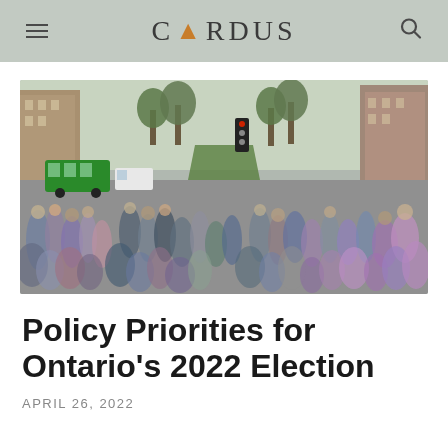CARDUS
[Figure (photo): Busy urban intersection with crowds of people crossing the street in motion blur, with city buildings, trees, and traffic lights in background. A green bus is visible on the left side.]
Policy Priorities for Ontario's 2022 Election
APRIL 26, 2022